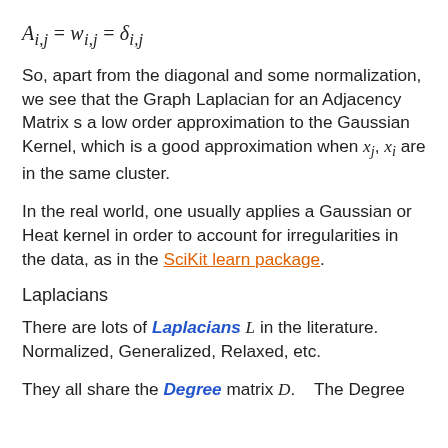So, apart from the diagonal and some normalization, we see that the Graph Laplacian for an Adjacency Matrix s a low order approximation to the Gaussian Kernel, which is a good approximation when x_j, x_i are in the same cluster.
In the real world, one usually applies a Gaussian or Heat kernel in order to account for irregularities in the data, as in the SciKit learn package.
Laplacians
There are lots of Laplacians L in the literature. Normalized, Generalized, Relaxed, etc.
They all share the Degree matrix D.    The Degree